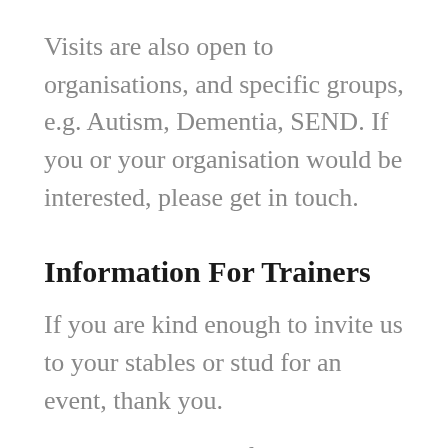Visits are also open to organisations, and specific groups, e.g. Autism, Dementia, SEND. If you or your organisation would be interested, please get in touch.
Information For Trainers
If you are kind enough to invite us to your stables or stud for an event, thank you.
All we ask is that, if at all possible,